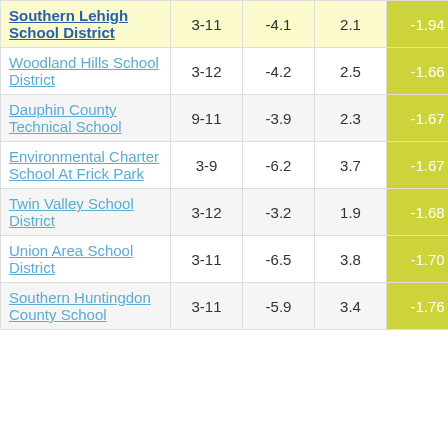| School/District | Grades | Col3 | Col4 | Score |
| --- | --- | --- | --- | --- |
| Southern Lehigh School District | 3-11 | -4.1 | 2.1 | -1.94 |
| Woodland Hills School District | 3-12 | -4.2 | 2.5 | -1.66 |
| Dauphin County Technical School | 9-11 | -3.9 | 2.3 | -1.67 |
| Environmental Charter School At Frick Park | 3-9 | -6.2 | 3.7 | -1.67 |
| Twin Valley School District | 3-12 | -3.2 | 1.9 | -1.68 |
| Union Area School District | 3-11 | -6.5 | 3.8 | -1.70 |
| Southern Huntingdon County School District | 3-11 | -5.9 | 3.4 | -1.76 |